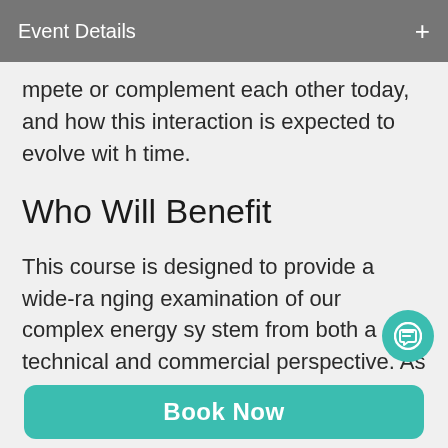Event Details
mpete or complement each other today, and how this interaction is expected to evolve with time.
Who Will Benefit
This course is designed to provide a wide-ranging examination of our complex energy system from both a technical and commercial perspective. As such, it is applicable to technical and business-oriented professionals working in parts of the energy sector that wish to